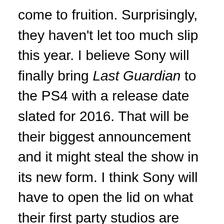come to fruition. Surprisingly, they haven't let too much slip this year. I believe Sony will finally bring Last Guardian to the PS4 with a release date slated for 2016. That will be their biggest announcement and it might steal the show in its new form. I think Sony will have to open the lid on what their first party studios are working on since losing Uncharted 4 into 2016. We need to see some quality titles and not a remaster to clean up the mess. So I can see a God Of War 4 reveal, Guerrilla Games Open world Sci-fi RPG to launch this year, Last Guardian gets tentative release